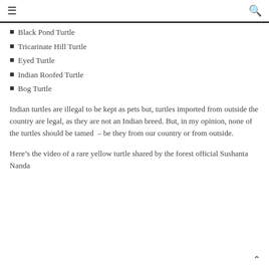≡  🔍
Black Pond Turtle
Tricarinate Hill Turtle
Eyed Turtle
Indian Roofed Turtle
Bog Turtle
Indian turtles are illegal to be kept as pets but, turtles imported from outside the country are legal, as they are not an Indian breed. But, in my opinion, none of the turtles should be tamed  – be they from our country or from outside.
Here's the video of a rare yellow turtle shared by the forest official Sushanta Nanda